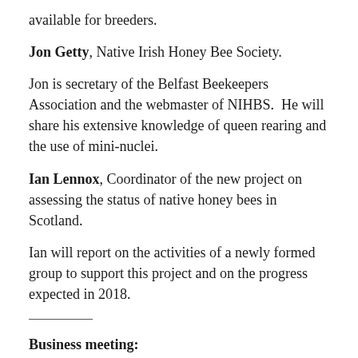available for breeders.
Jon Getty, Native Irish Honey Bee Society.
Jon is secretary of the Belfast Beekeepers Association and the webmaster of NIHBS.  He will share his extensive knowledge of queen rearing and the use of mini-nuclei.
Ian Lennox, Coordinator of the new project on assessing the status of native honey bees in Scotland.
Ian will report on the activities of a newly formed group to support this project and on the progress expected in 2018.
Business meeting:
Report from the Chair on SNHBS activities since the launch and